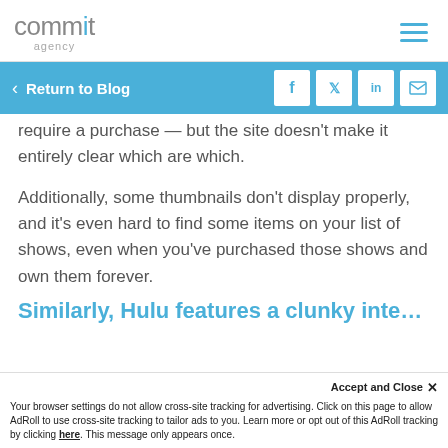commit agency
Return to Blog
require a purchase — but the site doesn't make it entirely clear which are which.
Additionally, some thumbnails don't display properly, and it's even hard to find some items on your list of shows, even when you've purchased those shows and own them forever.
Similarly, Hulu features a clunky interface...
Accept and Close ×
Your browser settings do not allow cross-site tracking for advertising. Click on this page to allow AdRoll to use cross-site tracking to tailor ads to you. Learn more or opt out of this AdRoll tracking by clicking here. This message only appears once.